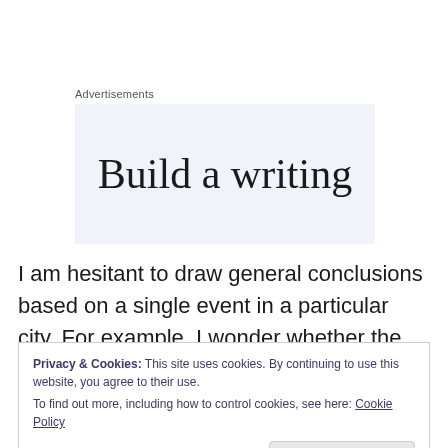Advertisements
[Figure (other): Advertisement banner with text 'Build a writing' on a light blue-grey background]
I am hesitant to draw general conclusions based on a single event in a particular city. For example, I wonder whether the emphasis on capitalization might be related to the concentration of Supply Chain Management firms in
Privacy & Cookies: This site uses cookies. By continuing to use this website, you agree to their use.
To find out more, including how to control cookies, see here: Cookie Policy
Close and accept